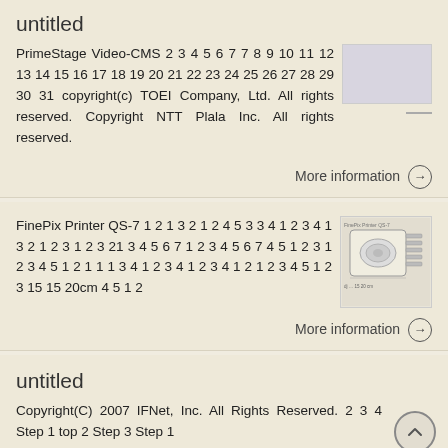untitled
PrimeStage Video-CMS 2 3 4 5 6 7 7 8 9 10 11 12 13 14 15 16 17 18 19 20 21 22 23 24 25 26 27 28 29 30 31 copyright(c) TOEI Company, Ltd. All rights reserved. Copyright NTT Plala Inc. All rights reserved.
[Figure (other): Thumbnail image placeholder (light gray rectangle) with a short horizontal dash below-right]
More information →
FinePix Printer QS-7 1 2 1 3 2 1 2 4 5 3 3 4 1 2 3 4 1 3 2 1 2 3 1 2 3 21 3 4 5 6 7 1 2 3 4 5 6 7 4 5 1 2 3 1 2 3 4 5 1 2 1 1 1 3 4 1 2 3 4 1 2 3 4 1 2 1 2 3 4 5 1 2 3 15 15 20cm 4 5 1 2
[Figure (other): Small thumbnail of a FinePix Printer QS-7 diagram/schematic showing a printer device from above with labels]
More information →
untitled
Copyright(C) 2007 IFNet, Inc. All Rights Reserved. 2 3 4 Step 1 top 2 Step 3 Step 1